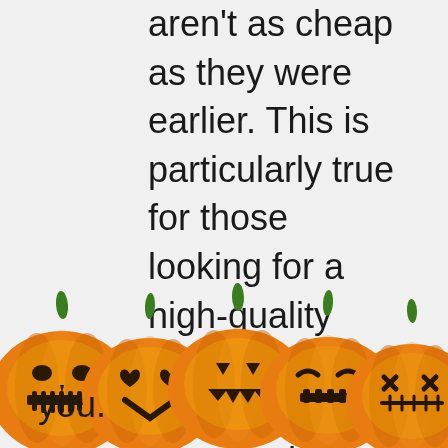aren't as cheap as they were earlier. This is particularly true for those looking for a high-quality costume. This blog post will discuss the best places to purchase Halloween costumes and accessories. We'll discuss the best places on the internet to help you pick the you.
[Figure (illustration): A row of five carved jack-o'-lantern pumpkins with glowing yellow faces and green stems, arranged side by side at the bottom of the page.]